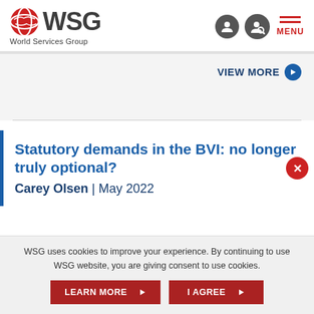[Figure (logo): WSG World Services Group logo with red globe icon]
VIEW MORE ›
Statutory demands in the BVI: no longer truly optional?
Carey Olsen | May 2022
WSG uses cookies to improve your experience. By continuing to use WSG website, you are giving consent to use cookies.
LEARN MORE › I AGREE ›